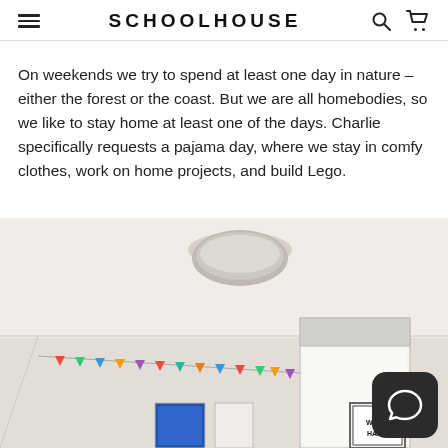SCHOOLHOUSE
On weekends we try to spend at least one day in nature – either the forest or the coast. But we are all homebodies, so we like to stay home at least one of the days. Charlie specifically requests a pajama day, where we stay in comfy clothes, work on home projects, and build Lego.
[Figure (photo): Interior room photo showing a ceiling light fixture, colorful pennant banner garland along the wall, a window with a shade, a 'WORK HARD' framed poster, and other wall art. A dark rounded-square chat button is visible in the bottom right corner.]